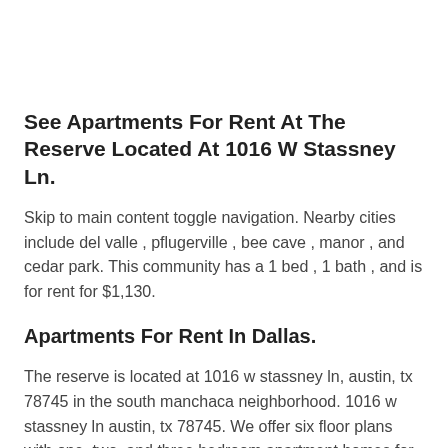See Apartments For Rent At The Reserve Located At 1016 W Stassney Ln.
Skip to main content toggle navigation. Nearby cities include del valle , pflugerville , bee cave , manor , and cedar park. This community has a 1 bed , 1 bath , and is for rent for $1,130.
Apartments For Rent In Dallas.
The reserve is located at 1016 w stassney ln, austin, tx 78745 in the south manchaca neighborhood. 1016 w stassney ln austin, tx 78745. We offer six floor plans with one, two, and three bedroom apartment homes for rent.